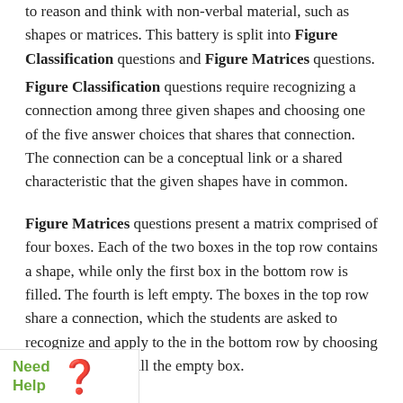to reason and think with non-verbal material, such as shapes or matrices. This battery is split into Figure Classification questions and Figure Matrices questions.
Figure Classification questions require recognizing a connection among three given shapes and choosing one of the five answer choices that shares that connection. The connection can be a conceptual link or a shared characteristic that the given shapes have in common.
Figure Matrices questions present a matrix comprised of four boxes. Each of the two boxes in the top row contains a shape, while only the first box in the bottom row is filled. The fourth is left empty. The boxes in the top row share a connection, which the students are asked to recognize and apply to the in the bottom row by choosing the correct ice to fill the empty box.